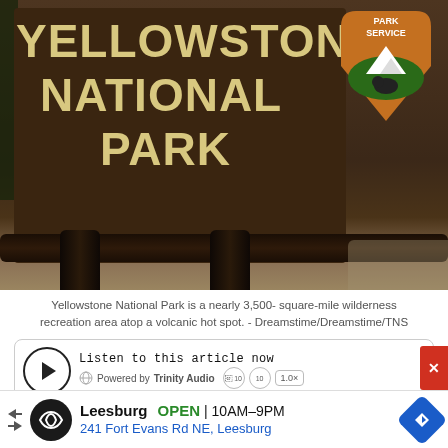[Figure (photo): Yellowstone National Park entrance sign — brown wooden sign with cream/tan letters reading YELLOWSTONE NATIONAL PARK, National Park Service arrowhead badge in upper right corner with buffalo/bison and mountain imagery]
Yellowstone National Park is a nearly 3,500- square-mile wilderness recreation area atop a volcanic hot spot. - Dreamstime/Dreamstime/TNS
[Figure (screenshot): Audio player widget — Listen to this article now, Powered by Trinity Audio, 00:00 to 08:28]
Heather Muldoon spent most of Monday bracing her Livingston garden business for the oncoming flood.
[Figure (other): Advertisement bar — Leesburg OPEN 10AM-9PM, 241 Fort Evans Rd NE, Leesburg]